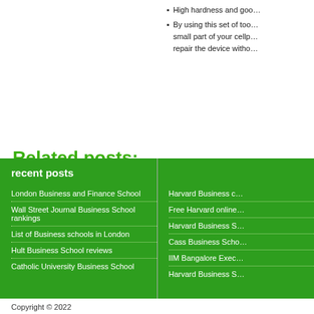High hardness and goo…
By using this set of too… small part of your cellp… repair the device witho…
Related posts:
1. Business Education Lesson Plans
2. Business Education articles
3. Business Education Center
4. Business Education major
5. Executive Education Jobs
recent posts
London Business and Finance School
Wall Street Journal Business School rankings
List of Business schools in London
Hult Business School reviews
Catholic University Business School
Harvard Business c…
Free Harvard online…
Harvard Business S…
Cass Business Scho…
IIM Bangalore Exec…
Harvard Business S…
Copyright © 2022